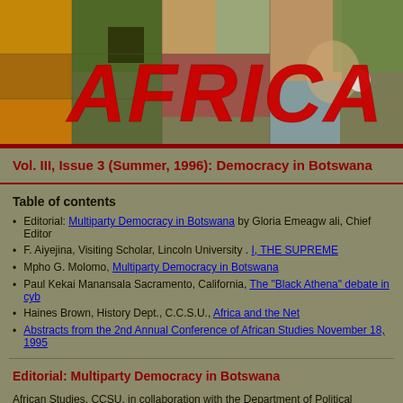[Figure (illustration): Banner image with colorful patchwork/textile background and large red italic text reading 'AFRICA U' (partially visible). The background shows a mosaic of orange, green, red, and brown fabric patches.]
Vol. III, Issue 3 (Summer, 1996): Democracy in Botswana
Table of contents
Editorial: Multiparty Democracy in Botswana by Gloria Emeagw ali, Chief Editor
F. Aiyejina, Visiting Scholar, Lincoln University . I, THE SUPREME
Mpho G. Molomo, Multiparty Democracy in Botswana
Paul Kekai Manansala Sacramento, California, The "Black Athena" debate in cyb...
Haines Brown, History Dept., C.C.S.U., Africa and the Net
Abstracts from the 2nd Annual Conference of African Studies November 18, 1995...
Editorial: Multiparty Democracy in Botswana
African Studies, CCSU, in collaboration with the Department of Political Science, CCSU, h... Botswana, as Visiting Fulbright Scholar, in the 1995/96 academic year.